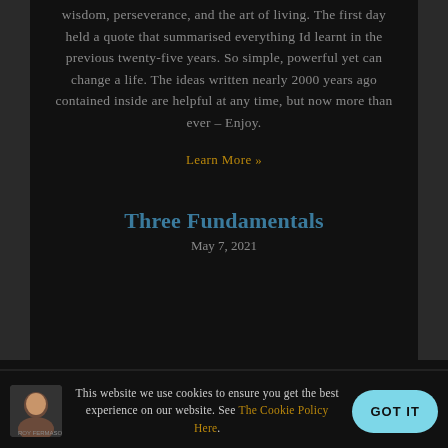wisdom, perseverance, and the art of living. The first day held a quote that summarised everything Id learnt in the previous twenty-five years. So simple, powerful yet can change a life. The ideas written nearly 2000 years ago contained inside are helpful at any time, but now more than ever – Enjoy.
Learn More »
Three Fundamentals
May 7, 2021
This website we use cookies to ensure you get the best experience on our website. See The Cookie Policy Here.